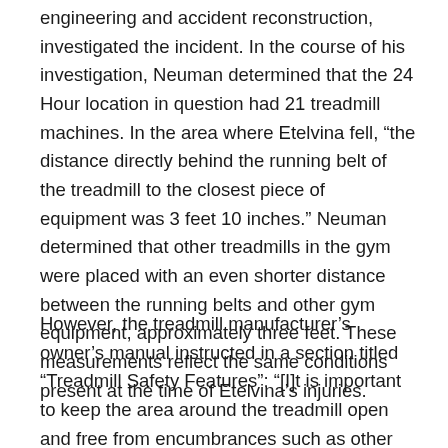engineering and accident reconstruction, investigated the incident. In the course of his investigation, Neuman determined that the 24 Hour location in question had 21 treadmill machines. In the area where Etelvina fell, “the distance directly behind the running belt of the treadmill to the closest piece of equipment was 3 feet 10 inches.” Neuman determined that other treadmills in the gym were placed with an even shorter distance between the running belts and other gym equipment, approximately three feet. These measurements reflect the same conditions present at the time of Etelvina’s injuries.
However, the treadmill manufacturer’s owner’s manual instructed in a section titled “Treadmill Safety Features”: “[I]t is important to keep the area around the treadmill open and free from encumbrances such as other equipment. The minimum space [***7] requirement needed